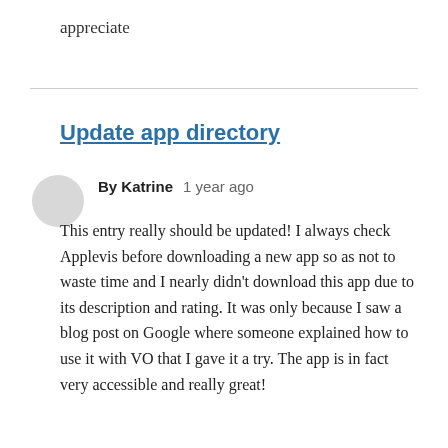appreciate
Update app directory
By Katrine   1 year ago
This entry really should be updated! I always check Applevis before downloading a new app so as not to waste time and I nearly didn't download this app due to its description and rating. It was only because I saw a blog post on Google where someone explained how to use it with VO that I gave it a try. The app is in fact very accessible and really great!